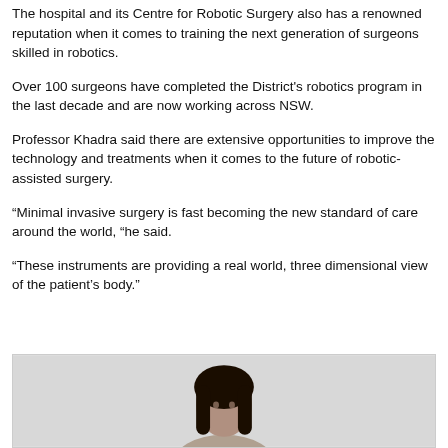The hospital and its Centre for Robotic Surgery also has a renowned reputation when it comes to training the next generation of surgeons skilled in robotics.
Over 100 surgeons have completed the District's robotics program in the last decade and are now working across NSW.
Professor Khadra said there are extensive opportunities to improve the technology and treatments when it comes to the future of robotic-assisted surgery.
“Minimal invasive surgery is fast becoming the new standard of care around the world, “he said.
“These instruments are providing a real world, three dimensional view of the patient’s body.”
[Figure (photo): Partial photo of a person with dark hair, grey background, cropped at bottom of page]